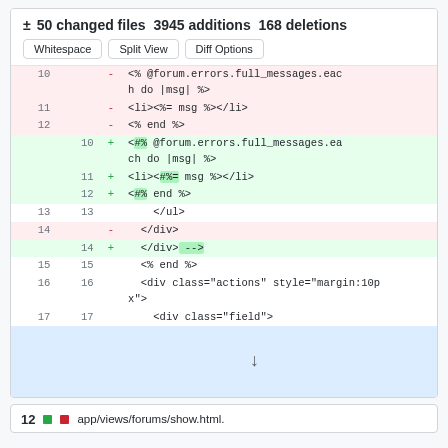± 50 changed files  3945 additions  168 deletions
| old ln | new ln | sign | code |
| --- | --- | --- | --- |
| 10 |  | - | <% @forum.errors.full_messages.each do |msg| %> |
| 11 |  | - | <li><%= msg %></li> |
| 12 |  | - | <% end %> |
|  | 10 | + | <#% @forum.errors.full_messages.each do |msg| %> |
|  | 11 | + | <li><#%= msg %></li> |
|  | 12 | + | <#% end %> |
| 13 | 13 |  | </ul> |
| 14 |  | - | </div> |
|  | 14 | + | </div> --> |
| 15 | 15 |  | <% end %> |
| 16 | 16 |  | <div class="actions" style="margin:10px"> |
| 17 | 17 |  | <div class="field"> |
| expand |  |  |  |
app/views/forums/show.html.